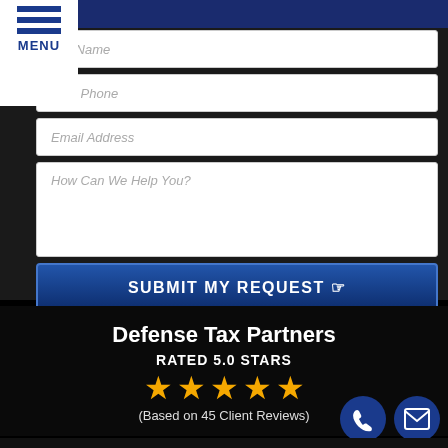[Figure (screenshot): Navigation menu icon with three horizontal blue lines and MENU text]
Full Name
Best Phone
Email Address
How Can We Help You?
SUBMIT MY REQUEST
Defense Tax Partners
RATED 5.0 STARS
[Figure (illustration): Five gold stars rating]
(Based on 45 Client Reviews)